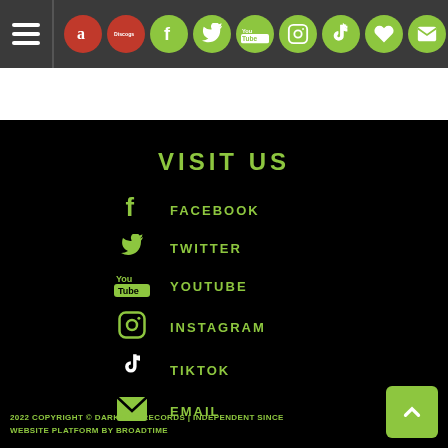[Figure (screenshot): Navigation bar with hamburger menu icon and social media icon circles (Amazon, Discogs, Facebook, Twitter, YouTube, Instagram, TikTok, Heart/Wishlist, Email) on dark grey background]
VISIT US
FACEBOOK
TWITTER
YOUTUBE
INSTAGRAM
TIKTOK
EMAIL
2022 COPYRIGHT © DARKSIDE RECORDS | INDEPENDENT SINCE
WEBSITE PLATFORM BY BROADTIME